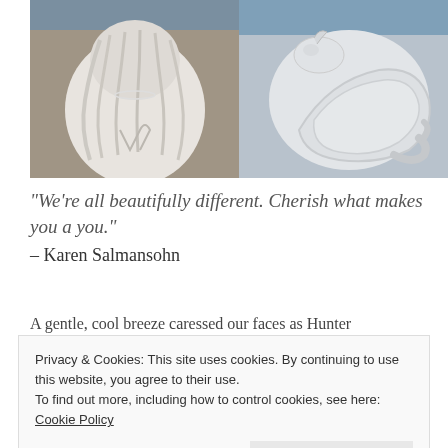[Figure (photo): Two snow sculptures side by side. Left: an intricate white snow sculpture of a figure with flowing details. Right: a white snow sculpture of a coiled snake or dragon-like creature with curving forms.]
“We’re all beautifully different. Cherish what makes you a you.”
– Karen Salmansohn
A gentle, cool breeze caressed our faces as Hunter
Privacy & Cookies: This site uses cookies. By continuing to use this website, you agree to their use.
To find out more, including how to control cookies, see here: Cookie Policy
Close and accept
carved with intricate detail each representing a